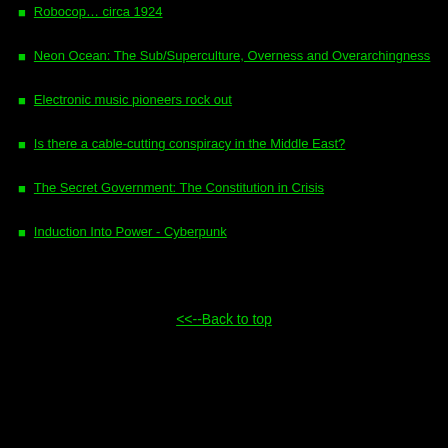Robocop... circa 1924
Neon Ocean: The Sub/Superculture, Overness and Overarchingness
Electronic music pioneers rock out
Is there a cable-cutting conspiracy in the Middle East?
The Secret Government: The Constitution in Crisis
Induction Into Power - Cyberpunk
<<--Back to top